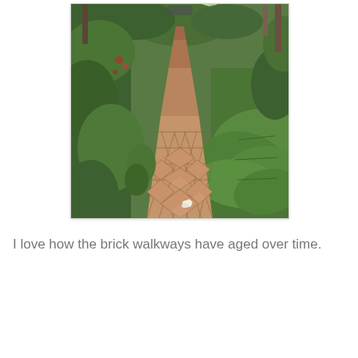[Figure (photo): A brick walkway laid in a diagonal herringbone pattern winds through a lush garden with large-leafed hostas and green foliage on either side, receding into the distance.]
I love how the brick walkways have aged over time.